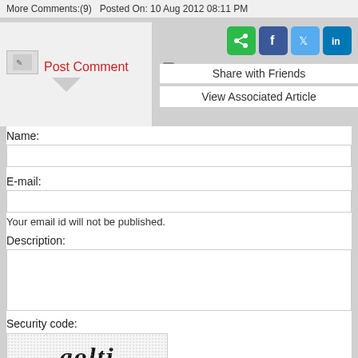More Comments:(9)  Posted On: 10 Aug 2012 08:11 PM
Post Comment
Share with Friends
View Associated Article
Name:
E-mail:
Your email id will not be published.
Description:
Security code:
[Figure (other): CAPTCHA image showing the text 'goltj' in bold italic serif font on a noisy light background]
Enter the code shown above: